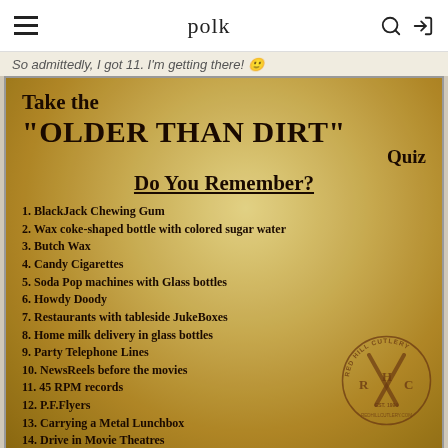polk
So admittedly, I got 11. I'm getting there!
[Figure (infographic): Parchment-style image with the 'Older Than Dirt' Quiz listing 14 nostalgic items on an aged yellow-brown background, with Red Hill Cutlery watermark logo in bottom right.]
Take the "OLDER THAN DIRT" Quiz
Do You Remember?
1. BlackJack Chewing Gum
2. Wax coke-shaped bottle with colored sugar water
3. Butch Wax
4. Candy Cigarettes
5. Soda Pop machines with Glass bottles
6. Howdy Doody
7. Restaurants with tableside JukeBoxes
8. Home milk delivery in glass bottles
9. Party Telephone Lines
10. NewsReels before the movies
11. 45 RPM records
12. P.F.Flyers
13. Carrying a Metal Lunchbox
14. Drive in Movie Theatres